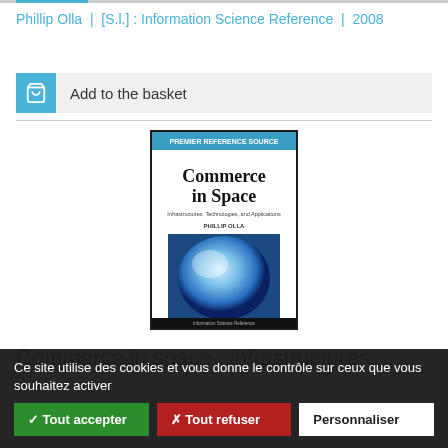Phillip Olla | [S.l.] : Information Science Reference | 2008
Add to the basket
[Figure (photo): Book cover of 'Commerce in Space: Infrastructures, Technologies, and Applications' by Phillip Olla, published by Premier Reference Source / Information Science Reference. Cover shows a blue glowing spherical object resembling Earth or a space body.]
Commerce in space : infrastructures,
Ce site utilise des cookies et vous donne le contrôle sur ceux que vous souhaitez activer
✓ Tout accepter
✗ Tout refuser
Personnaliser